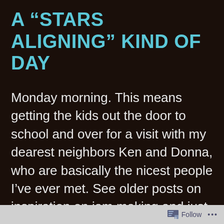A “STARS ALIGNING” KIND OF DAY
Monday morning. This means getting the kids out the door to school and over for a visit with my dearest neighbors Ken and Donna, who are basically the nicest people I’ve ever met. See older posts on inspiration on jam making and just about every other knitting and cooking recipe you could dream up. Donna does it all, and is now making wonderful felted creations. We made these felted balls
Follow ...